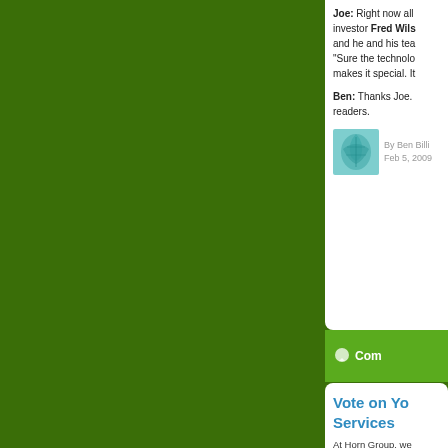Joe: Right now all investor Fred Wils and he and his tea "Sure the techno makes it special. It
Ben: Thanks Joe. readers.
[Figure (illustration): Author avatar thumbnail showing a teal/blue leaf or plant illustration]
By Ben Billi Feb 5, 2009
Com
Vote on Yo Services
At Horn Group, we around all of the si million dollar quest